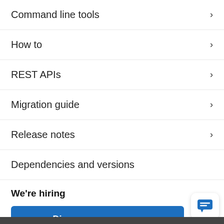Command line tools
How to
REST APIs
Migration guide
Release notes
Dependencies and versions
We're hiring
[Figure (screenshot): Blue 'Discover your career' button with an overlaid chat popup from Elastic assistant saying 'Hello there, I'm the Elastic assistant 🤖 How can I help you today?' and a blue chat icon in the bottom right corner.]